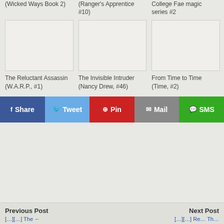(Wicked Ways Book 2)
(Ranger's Apprentice #10)
College Fae magic series #2
[Figure (illustration): Book cover placeholder — The Reluctant Assassin (W.A.R.P., #1)]
[Figure (illustration): Book cover placeholder — The Invisible Intruder (Nancy Drew, #46)]
[Figure (illustration): Book cover placeholder — From Time to Time (Time, #2)]
The Reluctant Assassin (W.A.R.P., #1)
The Invisible Intruder (Nancy Drew, #46)
From Time to Time (Time, #2)
f Share
Tweet
Pin
Mail
SMS
Previous Post | Next Post